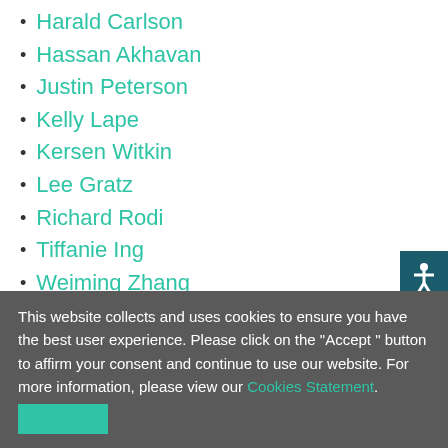Harald Carlson
Hassan Akhavan
Justin Peterson
Kelly Lape
Kersen Witkin
Lee Gratz
Richard Rodi
Tiffanie Ing
Weiming Zhang
This website collects and uses cookies to ensure you have the best user experience. Please click on the "Accept " button to affirm your consent and continue to use our website. For more information, please view our Cookies Statement.